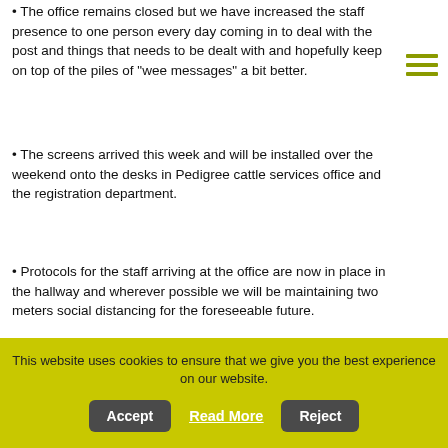The office remains closed but we have increased the staff presence to one person every day coming in to deal with the post and things that needs to be dealt with and hopefully keep on top of the piles of “wee messages” a bit better.
The screens arrived this week and will be installed over the weekend onto the desks in Pedigree cattle services office and the registration department.
Protocols for the staff arriving at the office are now in place in the hallway and wherever possible we will be maintaining two meters social distancing for the foreseeable future.
[Figure (photo): Two photos side by side: left shows a Covid-19 (Coronavirus) sign and a 'Keep a Safe Distance 2m' floor marker; right shows a desk with a computer monitor and supplies.]
This website uses cookies to ensure that we give you the best experience on our website.